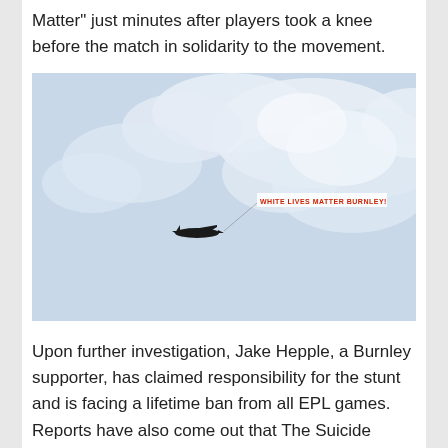Matter” just minutes after players took a knee before the match in solidarity to the movement.
[Figure (photo): A plane flying in a cloudy sky towing a banner that reads 'WHITE LIVES MATTER BURNLEY']
Upon further investigation, Jake Hepple, a Burnley supporter, has claimed responsibility for the stunt and is facing a lifetime ban from all EPL games. Reports have also come out that The Suicide Squad, a group of far right Burnley fans, are thought to have been involved in raising funds for...